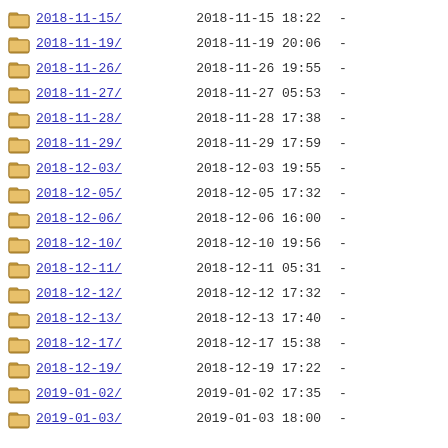2018-11-15/  2018-11-15 18:22  -
2018-11-19/  2018-11-19 20:06  -
2018-11-26/  2018-11-26 19:55  -
2018-11-27/  2018-11-27 05:53  -
2018-11-28/  2018-11-28 17:38  -
2018-11-29/  2018-11-29 17:59  -
2018-12-03/  2018-12-03 19:55  -
2018-12-05/  2018-12-05 17:32  -
2018-12-06/  2018-12-06 16:00  -
2018-12-10/  2018-12-10 19:56  -
2018-12-11/  2018-12-11 05:31  -
2018-12-12/  2018-12-12 17:32  -
2018-12-13/  2018-12-13 17:40  -
2018-12-17/  2018-12-17 15:38  -
2018-12-19/  2018-12-19 17:22  -
2019-01-02/  2019-01-02 17:35  -
2019-01-03/  2019-01-03 18:00  -